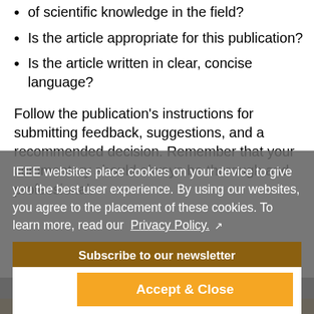of scientific knowledge in the field?
Is the article appropriate for this publication?
Is the article written in clear, concise language?
Follow the publication's instructions for submitting feedback, suggestions, and a recommended decision. Remember that your commentary should always be thorough and professional.
IEEE websites place cookies on your device to give you the best user experience. By using our websites, you agree to the placement of these cookies. To learn more, read our Privacy Policy.
Subscribe to our newsletter
Accept & Close